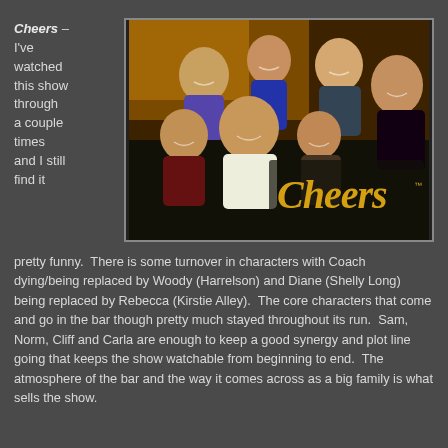[Figure (photo): Cast photo of the TV show Cheers with group of actors smiling, with the Cheers logo in gold script overlaid on the lower right portion of the image. Dark background. Multiple actors posed together.]
Cheers – I've watched this show through a couple times and I still find it pretty funny.  There is some turnover in characters with Coach dying/being replaced by Woody (Harrelson) and Diane (Shelly Long) being replaced by Rebecca (Kirstie Alley).  The core characters that come and go in the bar though pretty much stayed throughout its run.  Sam, Norm, Cliff and Carla are enough to keep a good synergy and plot line going that keeps the show watchable from beginning to end.  The atmosphere of the bar and the way it comes across as a big family is what sells the show.